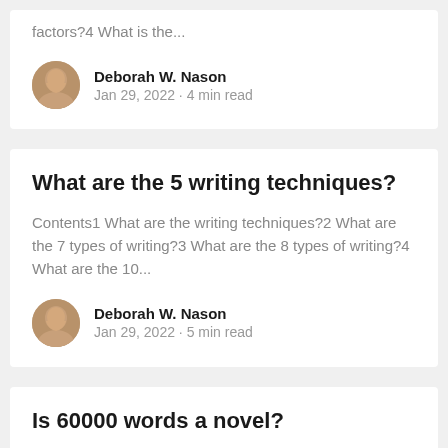factors?4 What is the...
Deborah W. Nason
Jan 29, 2022 · 4 min read
What are the 5 writing techniques?
Contents1 What are the writing techniques?2 What are the 7 types of writing?3 What are the 8 types of writing?4 What are the 10...
Deborah W. Nason
Jan 29, 2022 · 5 min read
Is 60000 words a novel?
Contents1 How long is a 60000 word novel?2 How many chapters are in a 60000 word novel?3 How many words is